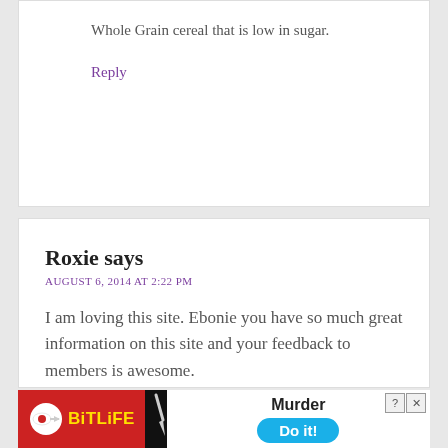Whole Grain cereal that is low in sugar.
Reply
Roxie says
AUGUST 6, 2014 AT 2:22 PM
I am loving this site. Ebonie you have so much great information on this site and your feedback to members is awesome.
Roxie
[Figure (screenshot): BitLife advertisement banner with red background, yellow BitLife logo text, black divider, white right section showing 'Murder' text and blue 'Do it!' button]